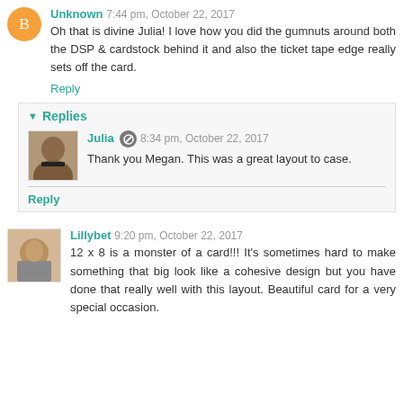Unknown 7:44 pm, October 22, 2017
Oh that is divine Julia! I love how you did the gumnuts around both the DSP & cardstock behind it and also the ticket tape edge really sets off the card.
Reply
Replies
Julia 8:34 pm, October 22, 2017
Thank you Megan. This was a great layout to case.
Reply
Lillybet 9:20 pm, October 22, 2017
12 x 8 is a monster of a card!!! It's sometimes hard to make something that big look like a cohesive design but you have done that really well with this layout. Beautiful card for a very special occasion.